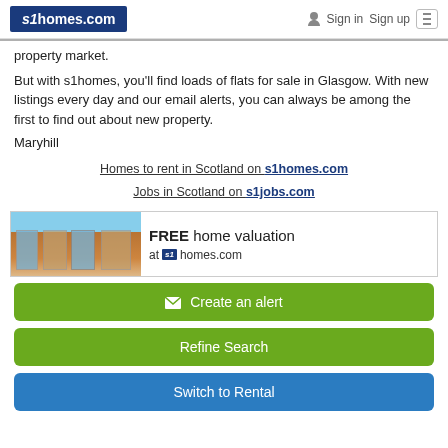s1homes.com   Sign in  Sign up
property market.
But with s1homes, you'll find loads of flats for sale in Glasgow. With new listings every day and our email alerts, you can always be among the first to find out about new property.
Maryhill
Homes to rent in Scotland on s1homes.com
Jobs in Scotland on s1jobs.com
[Figure (other): Advertisement banner for s1homes.com showing a building photo on the left and the text 'FREE home valuation at s1homes.com' on the right.]
Create an alert
Refine Search
Switch to Rental